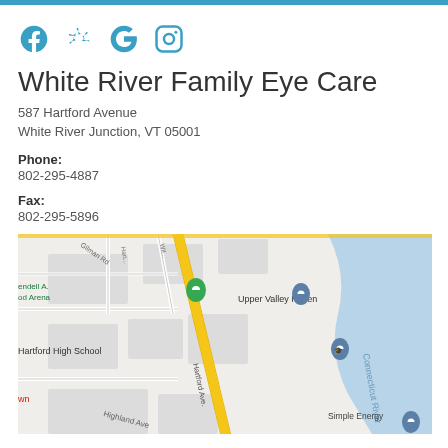[Figure (other): Social media icons: Facebook, Yelp, Google, Instagram in teal/blue color]
White River Family Eye Care
587 Hartford Avenue
White River Junction, VT 05001
Phone:
802-295-4887
Fax:
802-295-5896
[Figure (map): Google Maps screenshot showing the area around 587 Hartford Avenue, White River Junction, VT. Shows Upper Valley Haven, Hartford High School, Connecticut River, Simple Energy, Highland Ave, Hartford Ave with location pins.]